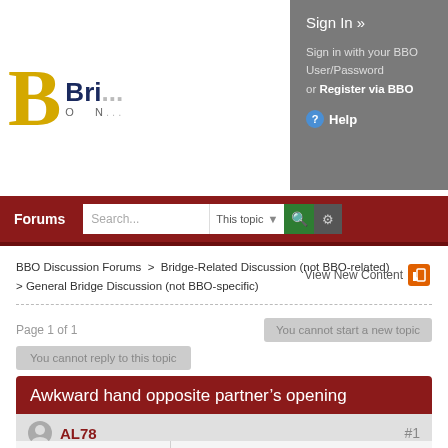[Figure (screenshot): BBO (Bridge Base Online) website header with logo showing stylized gold B and navy text 'Bri...' with 'O N...' subtitle]
Sign In »
Sign in with your BBO User/Password or Register via BBO
Help
Forums
Search... | This topic
BBO Discussion Forums > Bridge-Related Discussion (not BBO-related) > General Bridge Discussion (not BBO-specific)
View New Content
Page 1 of 1
You cannot start a new topic
You cannot reply to this topic
Awkward hand opposite partner's opening
AL78
#1
Group: Advanced Members
Posts: 1,028
Joined: 2019-October-13
Posted 2022-January-28, 17:38
This hand came up at IMP pairs earlier this evening. I was playing with a partner I have not played with since